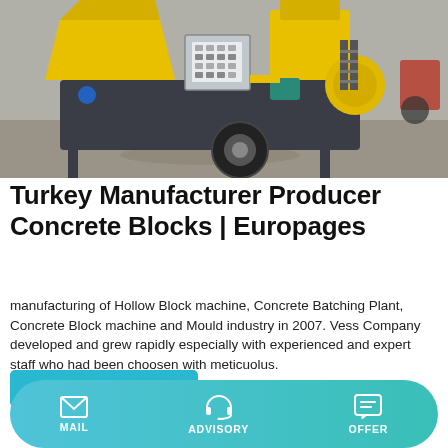[Figure (photo): Yellow concrete batching plant / hollow block machine on wheels, with control panel, outdoors on a concrete surface.]
Turkey Manufacturer Producer Concrete Blocks | Europages
manufacturing of Hollow Block machine, Concrete Batching Plant, Concrete Block machine and Mould industry in 2007. Vess Company developed and grew rapidly especially with experienced and expert staff who had been choosen with meticuolus.
Learn More
MAIL   ADVISORY   OFFER